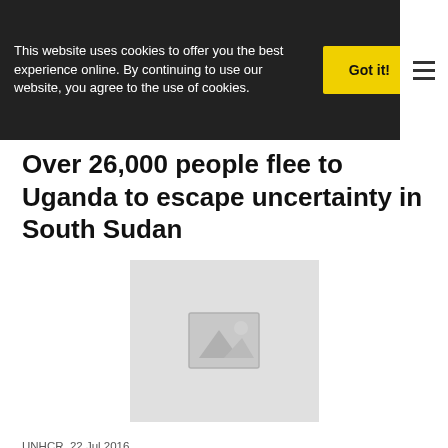This website uses cookies to offer you the best experience online. By continuing to use our website, you agree to the use of cookies.
Over 26,000 people flee to Uganda to escape uncertainty in South Sudan
[Figure (photo): Placeholder image thumbnail for the article]
UNHCR, 22 Jul 2016
URL: http://www.unhcr.org/news/briefing/2016/7/5791e2d04/26000-people-flee-uganda-escape-uncertainty-south-sudan.html